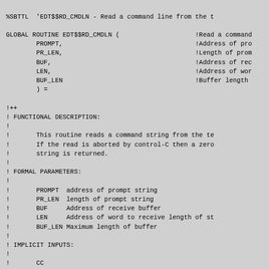%SBTTL  'EDT$$RD_CMDLN - Read a command line from the t

GLOBAL ROUTINE EDT$$RD_CMDLN (                    !Read a command
        PROMPT,                                   !Address of pro
        PR_LEN,                                   !Length of prom
        BUF,                                      !Address of rec
        LEN,                                      !Address of wor
        BUF_LEN                                   !Buffer length
        ) =

!++
! FUNCTIONAL DESCRIPTION:
!
!       This routine reads a command string from the te
!       If the read is aborted by control-C then a zero
!       string is returned.
!
! FORMAL PARAMETERS:
!
!       PROMPT  address of prompt string
!       PR_LEN  length of prompt string
!       BUF     Address of receive buffer
!       LEN     Address of word to receive length of st
!       BUF_LEN Maximum length of buffer
!
! IMPLICIT INPUTS:
!
!       CC
!